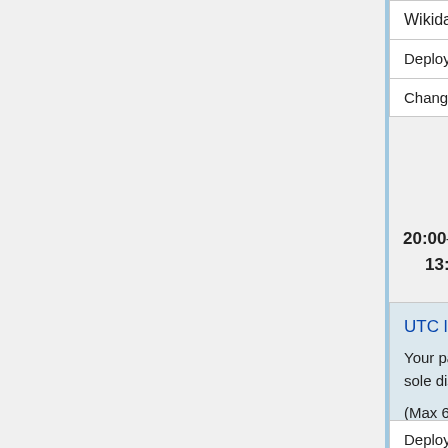| Wikidata Query Service weekly deploy |
| Deployer | Ryan (ryankemper) |
| Changes | ... |
20:00–21:00 UTC # 13:00–14:00 PDT
UTC late backport window
Your patch may or may not be deployed at the sole discretion of the deployer
(Max 6 patches)
| Deployer | Roan (RoanKattouw), Martin (Urbanecm), Clare (cjming) |
| Changes | Zabe (zabe)
[config] 776255 (deploy commands)
Migrate $wmfUsingKubernetes |